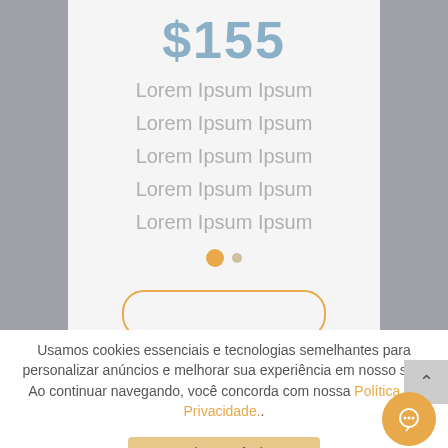$155
Lorem Ipsum Ipsum
Lorem Ipsum Ipsum
Lorem Ipsum Ipsum
Lorem Ipsum Ipsum
Lorem Ipsum Ipsum
Usamos cookies essenciais e tecnologias semelhantes para personalizar anúncios e melhorar sua experiência em nosso site. Ao continuar navegando, você concorda com nossa Política de Privacidade..
continuar e fechar